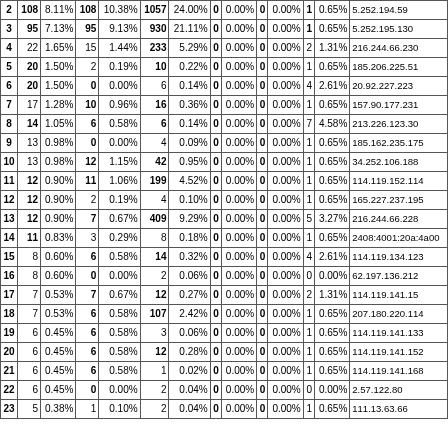| # | col1 | % | col2 | % | col3 | % | col4 | % | col5 | % | col6 | % | IP |
| --- | --- | --- | --- | --- | --- | --- | --- | --- | --- | --- | --- | --- | --- |
| 2 | 108 | 8.11% | 108 | 10.38% | 1057 | 24.00% | 0 | 0.00% | 0 | 0.00% | 1 | 0.65% | 5.252.194.59 |
| 3 | 95 | 7.13% | 95 | 9.13% | 930 | 21.11% | 0 | 0.00% | 0 | 0.00% | 1 | 0.65% | 5.252.195.130 |
| 4 | 22 | 1.65% | 15 | 1.44% | 233 | 5.29% | 0 | 0.00% | 0 | 0.00% | 2 | 1.31% | 216.244.66.230 |
| 5 | 20 | 1.50% | 2 | 0.19% | 10 | 0.22% | 0 | 0.00% | 0 | 0.00% | 1 | 0.65% | 185.206.225.51 |
| 6 | 20 | 1.50% | 0 | 0.00% | 6 | 0.14% | 0 | 0.00% | 0 | 0.00% | 4 | 2.61% | 20.92.227.223 |
| 7 | 17 | 1.28% | 10 | 0.96% | 16 | 0.36% | 0 | 0.00% | 0 | 0.00% | 1 | 0.65% | 157.90.177.231 |
| 8 | 14 | 1.05% | 6 | 0.58% | 6 | 0.14% | 0 | 0.00% | 0 | 0.00% | 7 | 4.58% | 213.226.123.30 |
| 9 | 13 | 0.98% | 0 | 0.00% | 4 | 0.09% | 0 | 0.00% | 0 | 0.00% | 1 | 0.65% | 185.162.235.175 |
| 10 | 13 | 0.98% | 12 | 1.15% | 42 | 0.95% | 0 | 0.00% | 0 | 0.00% | 1 | 0.65% | 34.252.106.188 |
| 11 | 12 | 0.90% | 11 | 1.06% | 199 | 4.52% | 0 | 0.00% | 0 | 0.00% | 1 | 0.65% | 114.119.152.114 |
| 12 | 12 | 0.90% | 2 | 0.19% | 4 | 0.10% | 0 | 0.00% | 0 | 0.00% | 1 | 0.65% | 165.227.237.195 |
| 13 | 12 | 0.90% | 7 | 0.67% | 409 | 9.29% | 0 | 0.00% | 0 | 0.00% | 5 | 3.27% | 216.244.66.228 |
| 14 | 11 | 0.83% | 3 | 0.29% | 8 | 0.18% | 0 | 0.00% | 0 | 0.00% | 1 | 0.65% | 2408:4001:20a:4a00 |
| 15 | 8 | 0.60% | 6 | 0.58% | 14 | 0.32% | 0 | 0.00% | 0 | 0.00% | 4 | 2.61% | 114.119.134.123 |
| 16 | 8 | 0.60% | 0 | 0.00% | 2 | 0.06% | 0 | 0.00% | 0 | 0.00% | 0 | 0.00% | 62.197.136.212 |
| 17 | 7 | 0.53% | 7 | 0.67% | 12 | 0.27% | 0 | 0.00% | 0 | 0.00% | 2 | 1.31% | 114.119.141.15 |
| 18 | 7 | 0.53% | 6 | 0.58% | 107 | 2.42% | 0 | 0.00% | 0 | 0.00% | 1 | 0.65% | 207.180.220.114 |
| 19 | 6 | 0.45% | 6 | 0.58% | 3 | 0.06% | 0 | 0.00% | 0 | 0.00% | 1 | 0.65% | 114.119.141.133 |
| 20 | 6 | 0.45% | 6 | 0.58% | 12 | 0.28% | 0 | 0.00% | 0 | 0.00% | 1 | 0.65% | 114.119.141.152 |
| 21 | 6 | 0.45% | 6 | 0.58% | 1 | 0.02% | 0 | 0.00% | 0 | 0.00% | 1 | 0.65% | 114.119.141.168 |
| 22 | 6 | 0.45% | 0 | 0.00% | 2 | 0.04% | 0 | 0.00% | 0 | 0.00% | 0 | 0.00% | 2.57.122.80 |
| 23 | 5 | 0.38% | 1 | 0.10% | 2 | 0.04% | 0 | 0.00% | 0 | 0.00% | 1 | 0.65% | 111.13.63.66 |